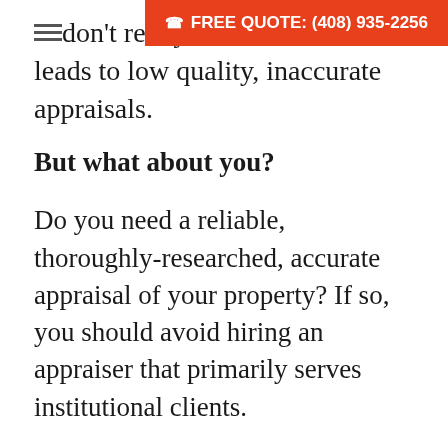FREE QUOTE: (408) 935-2256
don't really care leads to low quality, inaccurate appraisals.
But what about you?
Do you need a reliable, thoroughly-researched, accurate appraisal of your property? If so, you should avoid hiring an appraiser that primarily serves institutional clients.
We never use trainees or licensed